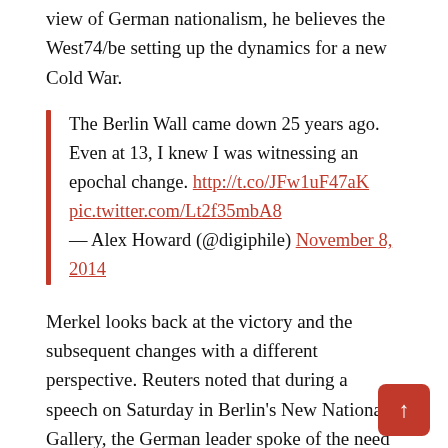view of German nationalism, he believes the West74/be setting up the dynamics for a new Cold War.
The Berlin Wall came down 25 years ago. Even at 13, I knew I was witnessing an epochal change. http://t.co/JFw1uF47aK pic.twitter.com/Lt2f35mbA8 — Alex Howard (@digiphile) November 8, 2014
Merkel looks back at the victory and the subsequent changes with a different perspective. Reuters noted that during a speech on Saturday in Berlin's New National Gallery, the German leader spoke of the need for freedom and self-determination.
“This city wrote history. The human urge for freedom cannot be suppressed forever.”